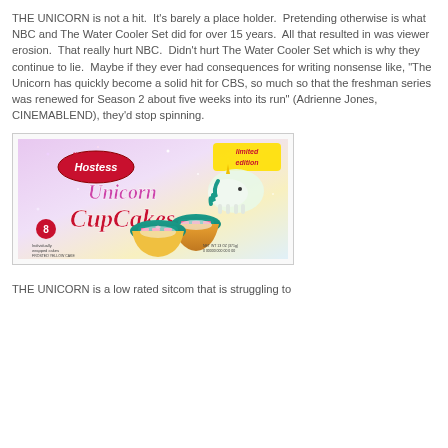THE UNICORN is not a hit.  It's barely a place holder.  Pretending otherwise is what NBC and The Water Cooler Set did for over 15 years.  All that resulted in was viewer erosion.  That really hurt NBC.  Didn't hurt The Water Cooler Set which is why they continue to lie.  Maybe if they ever had consequences for writing nonsense like, "The Unicorn has quickly become a solid hit for CBS, so much so that the freshman series was renewed for Season 2 about five weeks into its run" (Adrienne Jones, CINEMABLEND), they'd stop spinning.
[Figure (photo): Hostess Unicorn CupCakes box - Limited Edition. Shows a colorful box with sparkly background, a cartoon unicorn, and two teal frosted cupcakes with pink decorations. Labeled '8 individually wrapped cakes'.]
THE UNICORN is a low rated sitcom that is struggling to